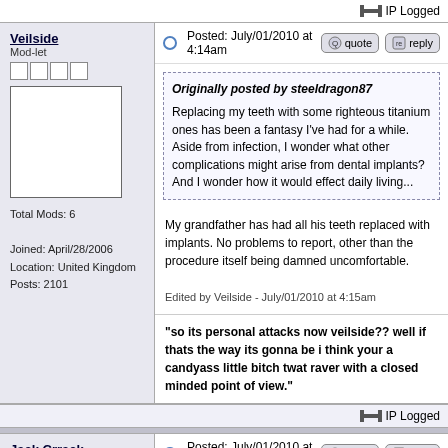IP Logged
Veilside
Mod-let
Total Mods: 6
Joined: April/28/2006
Location: United Kingdom
Posts: 2101
Posted: July/01/2010 at 4:14am
Originally posted by steeldragon87

Replacing my teeth with some righteous titanium ones has been a fantasy I've had for a while. Aside from infection, I wonder what other complications might arise from dental implants? And I wonder how it would effect daily living...
My grandfather has had all his teeth replaced with implants. No problems to report, other than the procedure itself being damned uncomfortable.

Edited by Veilside - July/01/2010 at 4:15am
"so its personal attacks now veilside?? well if thats the way its gonna be i think your a candyass little bitch twat raver with a closed minded point of view."
IP Logged
Jack Crrack
Heavy Modder
Total Mods: 15
Posted: July/01/2010 at 5:43am
Same with mine. He chipped one, but got it replaced rather easily.